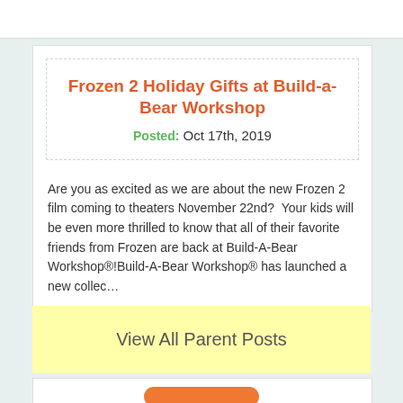Frozen 2 Holiday Gifts at Build-a-Bear Workshop
Posted: Oct 17th, 2019
Are you as excited as we are about the new Frozen 2 film coming to theaters November 22nd?  Your kids will be even more thrilled to know that all of their favorite friends from Frozen are back at Build-A-Bear Workshop®!Build-A-Bear Workshop® has launched a new collec…
View All Parent Posts